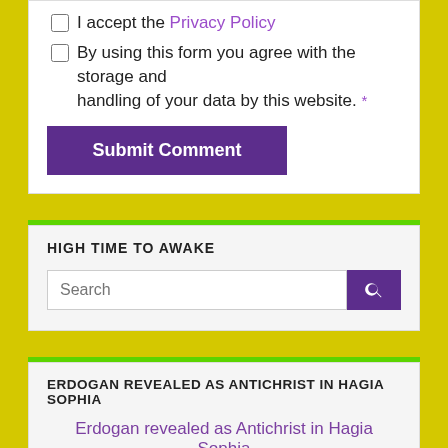I accept the Privacy Policy
By using this form you agree with the storage and handling of your data by this website. *
Submit Comment
HIGH TIME TO AWAKE
Search
ERDOGAN REVEALED AS ANTICHRIST IN HAGIA SOPHIA
Erdogan revealed as Antichrist in Hagia Sophia
[Figure (photo): Group of people wearing masks, appears to be a political/ceremonial gathering in a grand building]